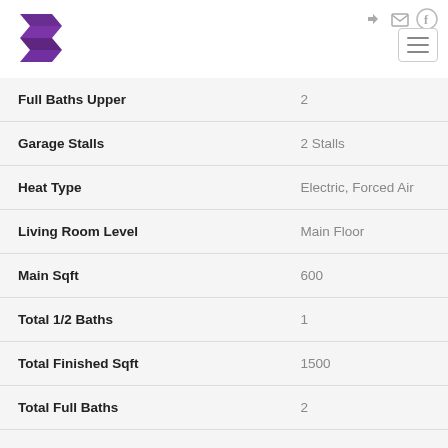Stroyroe Real Estate header with logo and navigation icons
| Property Feature | Value |
| --- | --- |
| Full Baths Upper | 2 |
| Garage Stalls | 2 Stalls |
| Heat Type | Electric, Forced Air |
| Living Room Level | Main Floor |
| Main Sqft | 600 |
| Total 1/2 Baths | 1 |
| Total Finished Sqft | 1500 |
| Total Full Baths | 2 |